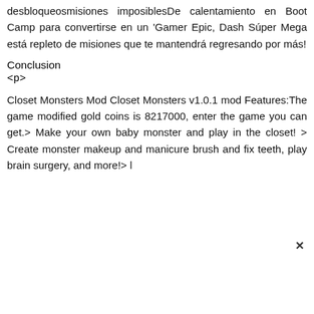desbloqueosmisiones imposiblesDe calentamiento en Boot Camp para convertirse en un 'Gamer Epic, Dash Súper Mega está repleto de misiones que te mantendrá regresando por más!
Conclusion
<p>
Closet Monsters Mod Closet Monsters v1.0.1 mod Features:The game modified gold coins is 8217000, enter the game you can get.> Make your own baby monster and play in the closet! > Create monster makeup and manicure brush and fix teeth, play brain surgery, and more!> l